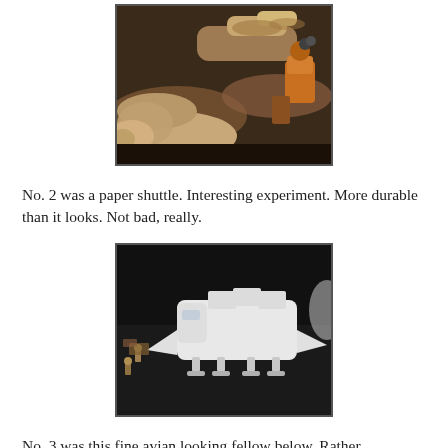[Figure (photo): Photo of sci-fi spacecraft models arranged together, warm sepia/orange tones, dark background. Multiple ship models visible including what appears to be a shuttle and other craft.]
No. 2 was a paper shuttle. Interesting experiment. More durable than it looks. Not bad, really.
[Figure (photo): Photo of a white paper model spacecraft (shuttle) on a dark surface, with small figurines visible to the left. The model has cylindrical components on top.]
No. 3 was this fine avian looking fellow below. Rather villainous, if I do say so. The mayor of villainy!